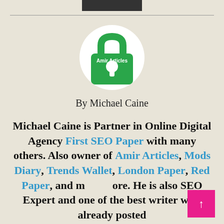[Figure (logo): Amir Articles logo: green padlock with white keyhole and 'Amir Articles' text on white circular background]
By Michael Caine
Michael Caine is Partner in Online Digital Agency First SEO Paper with many others. Also owner of Amir Articles, Mods Diary, Trends Wallet, London Paper, Red Paper, and more. He is also SEO Expert and one of the best writer with already posted